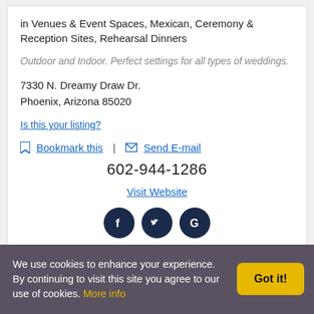in Venues & Event Spaces, Mexican, Ceremony & Reception Sites, Rehearsal Dinners
Outdoor and Indoor. Perfect settings for all types of weddings.
7330 N. Dreamy Draw Dr.
Phoenix, Arizona 85020
Is this your listing?
Bookmark this | Send E-mail
602-944-1286
Visit Website
[Figure (infographic): Three dark navy circular social media icons: Facebook (f), Twitter (bird), Google (G)]
We use cookies to enhance your experience. By continuing to visit this site you agree to our use of cookies. More info